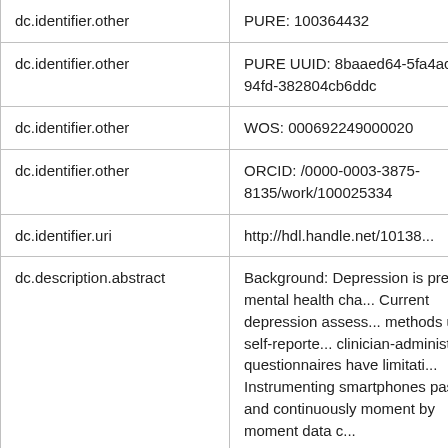| dc.identifier.other | PURE: 100364432 |
| dc.identifier.other | PURE UUID: 8baaed64-5fa4acd-94fd-382804cb6ddc |
| dc.identifier.other | WOS: 000692249000020 |
| dc.identifier.other | ORCID: /0000-0003-3875-8135/work/100025334 |
| dc.identifier.uri | http://hdl.handle.net/10138... |
| dc.description.abstract | Background: Depression is prevalent mental health cha... Current depression assess... methods using self-reporte... clinician-administered questionnaires have limitati... Instrumenting smartphones passively and continuously moment by moment data c... |